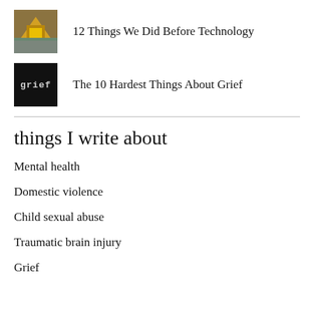[Figure (photo): Thumbnail image of a golden/bronze structure, likely a temple or monument]
12 Things We Did Before Technology
[Figure (photo): Dark thumbnail with the word 'Grief' written in styled text on black background]
The 10 Hardest Things About Grief
things I write about
Mental health
Domestic violence
Child sexual abuse
Traumatic brain injury
Grief